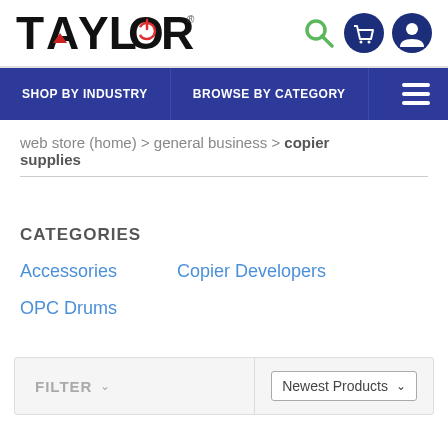[Figure (logo): Taylor logo with stylized power button O and arrow, red accent on A]
SHOP BY INDUSTRY   BROWSE BY CATEGORY   ☰
web store (home) > general business > copier supplies
CATEGORIES
Accessories
Copier Developers
OPC Drums
FILTER ∨   Newest Products ∨